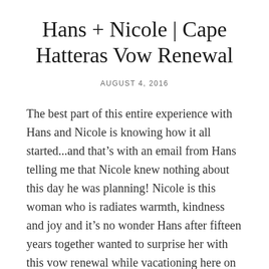Hans + Nicole | Cape Hatteras Vow Renewal
AUGUST 4, 2016
The best part of this entire experience with Hans and Nicole is knowing how it all started...and that’s with an email from Hans telling me that Nicole knew nothing about this day he was planning! Nicole is this woman who is radiates warmth, kindness and joy and it’s no wonder Hans after fifteen years together wanted to surprise her with this vow renewal while vacationing here on the Outer Banks. They take this trip yearly and Hatteras is their place, so many memories have been made here and it was the natural choice for